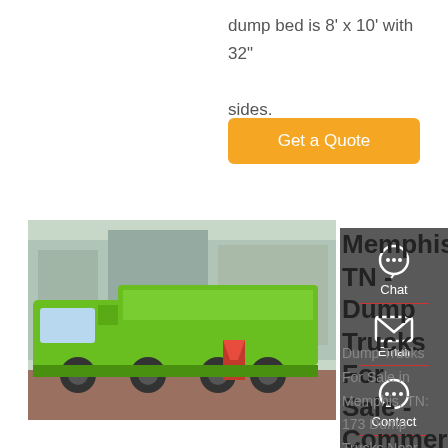dump bed is 8' x 10' with 32" sides.
Get a Quote
[Figure (photo): Green dump truck parked in a lot with industrial building in background]
Memphis, TN - Dump Trucks For Sale - Commercial Truck Trader
Dump Trucks For Sale in Memphis, TN: 173 Dump Trucks Near You - Find Dump Trucks on Commercial Truck Trader. Loading your results Premium. Request Price 537 miles . 2021